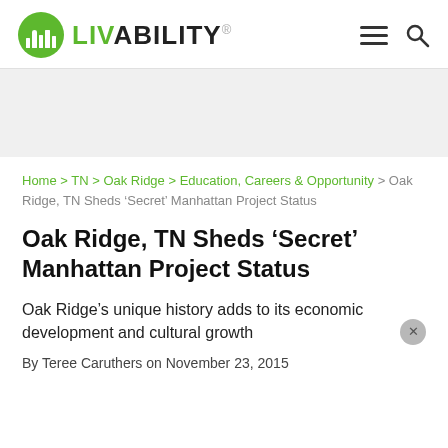LIVABILITY
[Figure (logo): Livability logo with green circle icon and LIVABILITY wordmark]
Home > TN > Oak Ridge > Education, Careers & Opportunity > Oak Ridge, TN Sheds ‘Secret’ Manhattan Project Status
Oak Ridge, TN Sheds ‘Secret’ Manhattan Project Status
Oak Ridge’s unique history adds to its economic development and cultural growth
By Teree Caruthers on November 23, 2015